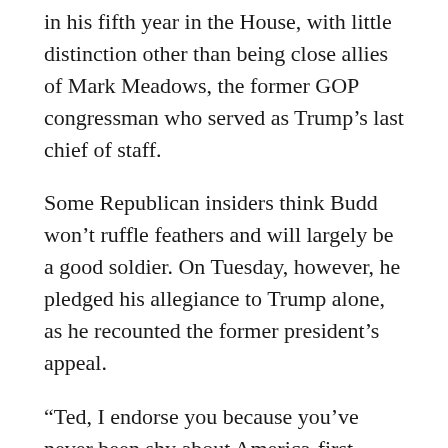in his fifth year in the House, with little distinction other than being close allies of Mark Meadows, the former GOP congressman who served as Trump’s last chief of staff.
Some Republican insiders think Budd won’t ruffle feathers and will largely be a good soldier. On Tuesday, however, he pledged his allegiance to Trump alone, as he recounted the former president’s appeal.
“Ted, I endorse you because you’ve never been shy about America-first policies,” Trump told Budd. The crowd cheered.
“I will never hesitate,” Budd said, to more cheers.
washingtonpost